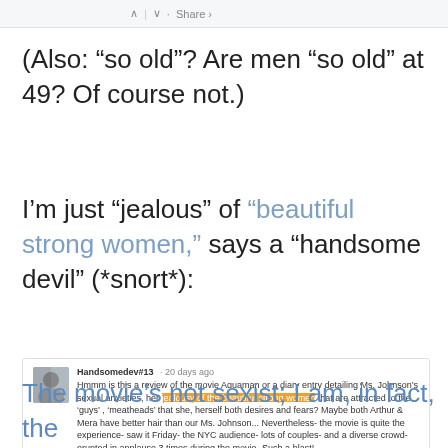^ v · Share ·
(Also: “so old”? Are men “so old” at 49? Of course not.)
I’m just “jealous” of “beautiful strong women,” says a “handsome devil” (*snort*):
Handsomedev#13 · 20 days ago
Hmmm is this a review of the movie Aquaman or a diary entry detailing Ms. Johnson’s sexual anxieties, her jealousy of the beautiful strong women that are attracted to the ‚guys’, ‚meathcods’ that she, herself both desires and fears? Maybe both Arthur & Mera have better hair than our Ms. Johnson... Nevertheless- the movie is quite the experience- saw it Friday- the NYC audience- lots of couples- and a diverse crowd- erupted in applause 3 times during the movie- Such a blast!
2 ^ / v · Share ·
The movie’s not sexist; I am, in fact, the